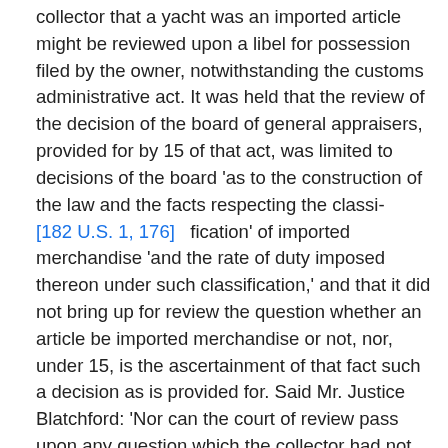collector that a yacht was an imported article might be reviewed upon a libel for possession filed by the owner, notwithstanding the customs administrative act. It was held that the review of the decision of the board of general appraisers, provided for by 15 of that act, was limited to decisions of the board 'as to the construction of the law and the facts respecting the classi- [182 U.S. 1, 176] fication' of imported merchandise 'and the rate of duty imposed thereon under such classification,' and that it did not bring up for review the question whether an article be imported merchandise or not, nor, under 15, is the ascertainment of that fact such a decision as is provided for. Said Mr. Justice Blatchford: 'Nor can the court of review pass upon any question which the collector had not original authority to determine. The collector had no authority to make any determination regarding any article which is not imported merchandise; and if the vessel in question here is not imported merchandise, the court of review would have no